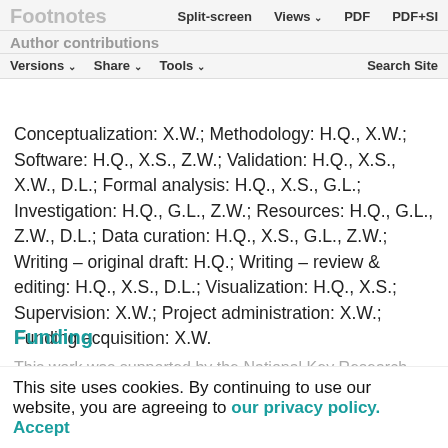Footnotes | Split-screen | Views | PDF | PDF+SI
Author contributions
Versions | Share | Tools | Search Site
Conceptualization: X.W.; Methodology: H.Q., X.W.; Software: H.Q., X.S., Z.W.; Validation: H.Q., X.S., X.W., D.L.; Formal analysis: H.Q., X.S., G.L.; Investigation: H.Q., G.L., Z.W.; Resources: H.Q., G.L., Z.W., D.L.; Data curation: H.Q., X.S., G.L., Z.W.; Writing – original draft: H.Q.; Writing – review & editing: H.Q., X.S., D.L.; Visualization: H.Q., X.S.; Supervision: X.W.; Project administration: X.W.; Funding acquisition: X.W.
Funding
This work was supported by the National Key Research Development Program of China (2017YFD0600104) and the Priority Academic Programme...
This site uses cookies. By continuing to use our website, you are agreeing to our privacy policy. Accept